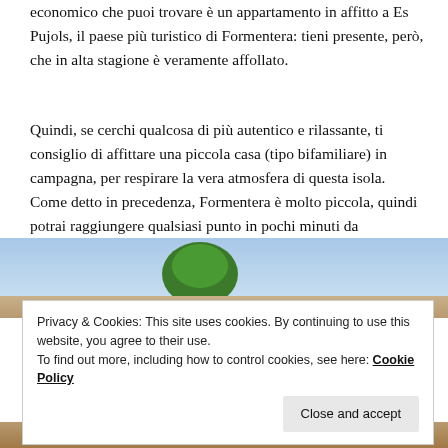economico che puoi trovare è un appartamento in affitto a Es Pujols, il paese più turistico di Formentera: tieni presente, però, che in alta stagione è veramente affollato.
Quindi, se cerchi qualcosa di più autentico e rilassante, ti consiglio di affittare una piccola casa (tipo bifamiliare) in campagna, per respirare la vera atmosfera di questa isola. Come detto in precedenza, Formentera è molto piccola, quindi potrai raggiungere qualsiasi punto in pochi minuti da qualunque luogo in cui ti trovi. Io ho alloggiato in una piccola casa presso le Viviendas Ferrer.
[Figure (photo): Photo of a green tree against a blue sky with sandy ground, partially visible, representing countryside in Formentera]
Privacy & Cookies: This site uses cookies. By continuing to use this website, you agree to their use.
To find out more, including how to control cookies, see here: Cookie Policy
Close and accept